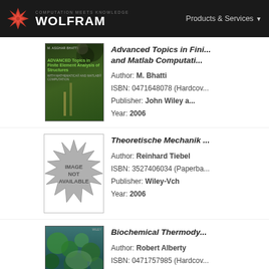WOLFRAM | COMPUTATION MEETS KNOWLEDGE | Products & Services
Advanced Topics in Finite Element Analysis of Structures and Matlab Computation
Author: M. Bhatti
ISBN: 0471648078 (Hardcover)
Publisher: John Wiley and Sons
Year: 2006
Theoretische Mechanik ...
Author: Reinhard Tiebel
ISBN: 3527406034 (Paperback)
Publisher: Wiley-Vch
Year: 2006
Biochemical Thermodynamics...
Author: Robert Alberty
ISBN: 0471757985 (Hardcover)
Publisher: John Wiley &...
Year: 2006